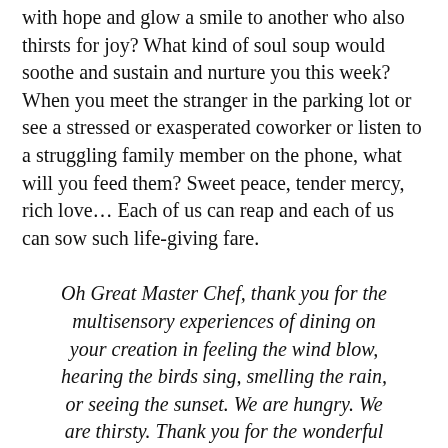with hope and glow a smile to another who also thirsts for joy? What kind of soul soup would soothe and sustain and nurture you this week? When you meet the stranger in the parking lot or see a stressed or exasperated coworker or listen to a struggling family member on the phone, what will you feed them? Sweet peace, tender mercy, rich love… Each of us can reap and each of us can sow such life-giving fare.
Oh Great Master Chef, thank you for the multisensory experiences of dining on your creation in feeling the wind blow, hearing the birds sing, smelling the rain, or seeing the sunset. We are hungry. We are thirsty. Thank you for the wonderful food for our souls through your life, love, goodness, truth, peace